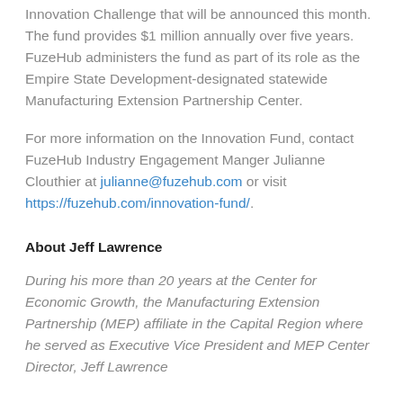Innovation Challenge that will be announced this month. The fund provides $1 million annually over five years. FuzeHub administers the fund as part of its role as the Empire State Development-designated statewide Manufacturing Extension Partnership Center.
For more information on the Innovation Fund, contact FuzeHub Industry Engagement Manger Julianne Clouthier at julianne@fuzehub.com or visit https://fuzehub.com/innovation-fund/.
About Jeff Lawrence
During his more than 20 years at the Center for Economic Growth, the Manufacturing Extension Partnership (MEP) affiliate in the Capital Region where he served as Executive Vice President and MEP Center Director, Jeff Lawrence